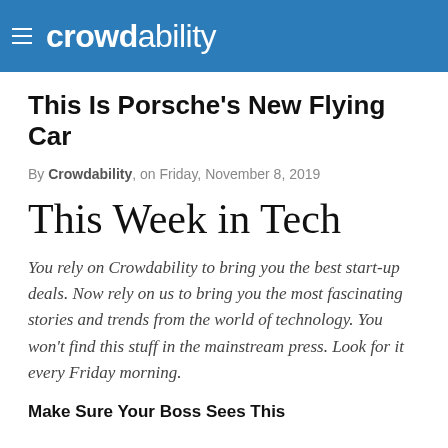crowdability
This Is Porsche's New Flying Car
By Crowdability, on Friday, November 8, 2019
This Week in Tech
You rely on Crowdability to bring you the best start-up deals. Now rely on us to bring you the most fascinating stories and trends from the world of technology. You won't find this stuff in the mainstream press. Look for it every Friday morning.
Make Sure Your Boss Sees This